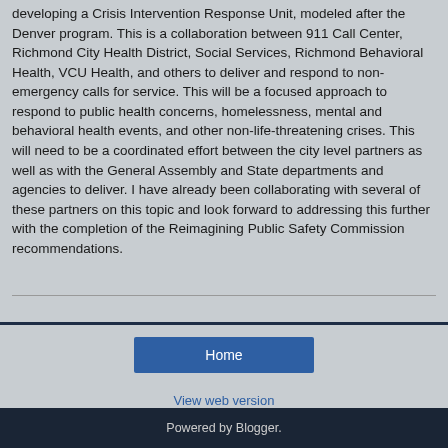developing a Crisis Intervention Response Unit, modeled after the Denver program. This is a collaboration between 911 Call Center, Richmond City Health District, Social Services, Richmond Behavioral Health, VCU Health, and others to deliver and respond to non-emergency calls for service. This will be a focused approach to respond to public health concerns, homelessness, mental and behavioral health events, and other non-life-threatening crises. This will need to be a coordinated effort between the city level partners as well as with the General Assembly and State departments and agencies to deliver. I have already been collaborating with several of these partners on this topic and look forward to addressing this further with the completion of the Reimagining Public Safety Commission recommendations.
Home
View web version
Powered by Blogger.